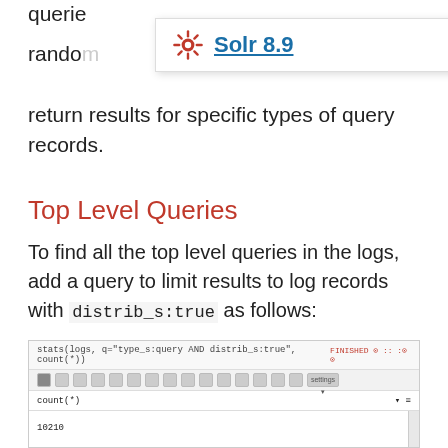querie
[Figure (logo): Solr 8.9 logo with red sunburst icon and bold underlined text 'Solr 8.9']
random
return results for specific types of query records.
Top Level Queries
To find all the top level queries in the logs, add a query to limit results to log records with distrib_s:true as follows:
[Figure (screenshot): Screenshot of a Solr query interface showing stats(logs, q="type_s:query AND distrib_s:true", count(*)) with result 10210]